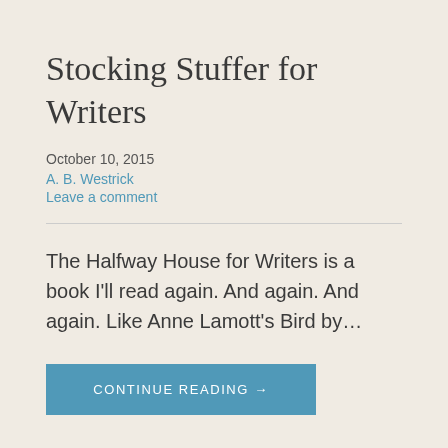Stocking Stuffer for Writers
October 10, 2015
A. B. Westrick
Leave a comment
The Halfway House for Writers is a book I'll read again. And again. And again. Like Anne Lamott's Bird by…
CONTINUE READING →